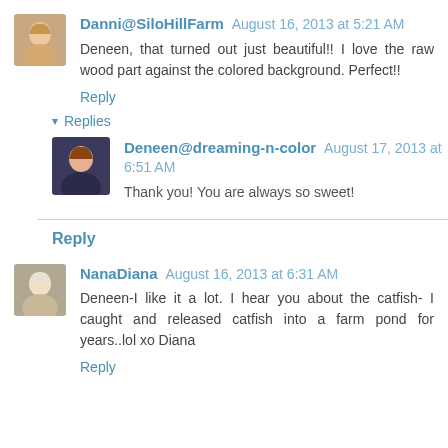Danni@SiloHillFarm August 16, 2013 at 5:21 AM
Deneen, that turned out just beautiful!! I love the raw wood part against the colored background. Perfect!!
Reply
▾ Replies
Deneen@dreaming-n-color August 17, 2013 at 6:51 AM
Thank you! You are always so sweet!
Reply
NanaDiana August 16, 2013 at 6:31 AM
Deneen-I like it a lot. I hear you about the catfish- I caught and released catfish into a farm pond for years..lol xo Diana
Reply